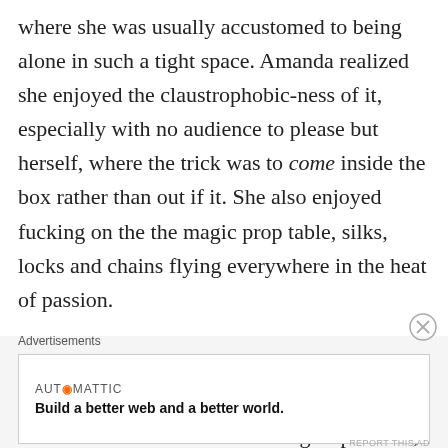where she was usually accustomed to being alone in such a tight space. Amanda realized she enjoyed the claustrophobic-ness of it, especially with no audience to please but herself, where the trick was to come inside the box rather than out if it. She also enjoyed fucking on the the magic prop table, silks, locks and chains flying everywhere in the heat of passion.
Amanda was fine with it. She had a goal: she would be “discovered” and move to Vegas where’d she’d have her own magic spectacle;
Advertisements
[Figure (other): Automattic advertisement banner reading 'Build a better web and a better world.']